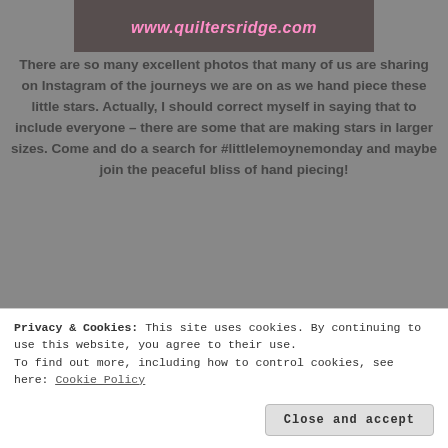[Figure (photo): Top image banner with URL www.quiltersridge.com on dark background]
There are so many excellent photos that many of us are sharing on Instagram of the journeys we are on as we hand piece these little stars.  Actually, I should correct myself in saying that to include everyone – there are some that are making stars in larger sizes.  Come and do a search for #littlelemoynemonday and maybe join the peaceful bliss of hand piecing!
[Figure (photo): Photo of sewing supplies on a wooden table: thread spool, scissors, thimble and small blue item]
Privacy & Cookies: This site uses cookies. By continuing to use this website, you agree to their use.
To find out more, including how to control cookies, see here: Cookie Policy
Close and accept